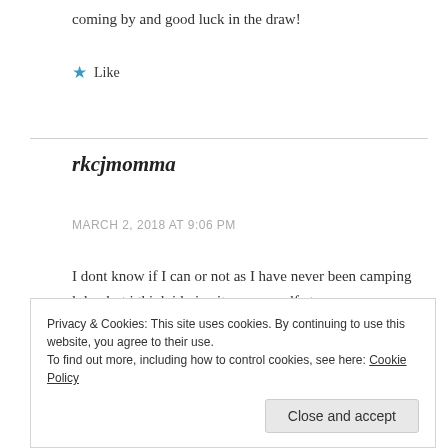coming by and good luck in the draw!
Like
rkcjmomma
MARCH 2, 2018 AT 9:06 PM
I dont know if I can or not as I have never been camping lol.....but i think id give it a go myself at
Privacy & Cookies: This site uses cookies. By continuing to use this website, you agree to their use.
To find out more, including how to control cookies, see here: Cookie Policy
Close and accept